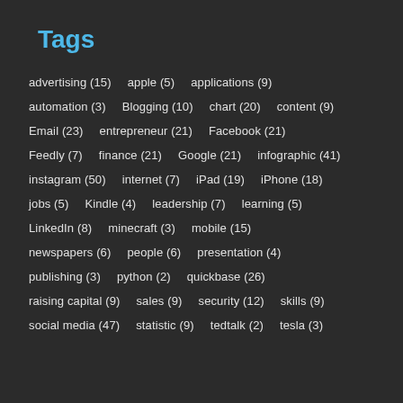Tags
advertising (15)  apple (5)  applications (9)
automation (3)  Blogging (10)  chart (20)  content (9)
Email (23)  entrepreneur (21)  Facebook (21)
Feedly (7)  finance (21)  Google (21)  infographic (41)
instagram (50)  internet (7)  iPad (19)  iPhone (18)
jobs (5)  Kindle (4)  leadership (7)  learning (5)
LinkedIn (8)  minecraft (3)  mobile (15)
newspapers (6)  people (6)  presentation (4)
publishing (3)  python (2)  quickbase (26)
raising capital (9)  sales (9)  security (12)  skills (9)
social media (47)  statistic (9)  tedtalk (2)  tesla (3)